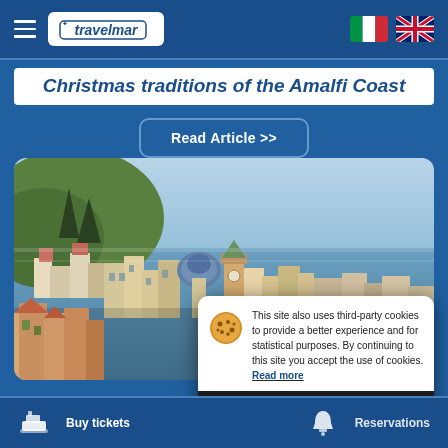travelmar
Christmas traditions of the Amalfi Coast
Read Article >>
[Figure (photo): Coastal Italian town (Amalfi Coast) with colorful buildings, church domes, and sea in background]
This site also uses third-party cookies to provide a better experience and for statistical purposes. By continuing to this site you accept the use of cookies. Read more
OK
Buy tickets / Reservations